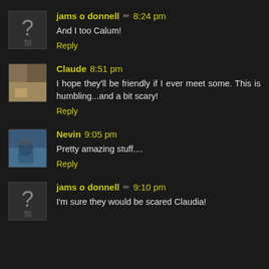jams o donnell ✏ 8:24 pm
And I too Calum!
Reply
Claude 8:51 pm
I hope they'll be friendly if I ever meet some. This is humbling...and a bit scary!
Reply
Nevin 9:05 pm
Pretty amazing stuff....
Reply
jams o donnell ✏ 9:10 pm
I'm sure they would be scared Claudia!